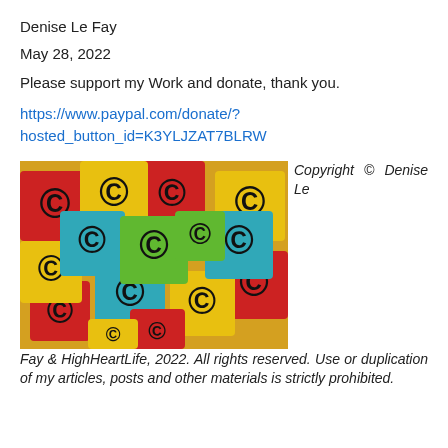Denise Le Fay
May 28, 2022
Please support my Work and donate, thank you.
https://www.paypal.com/donate/?hosted_button_id=K3YLJZAT7BLRW
[Figure (photo): Colorful square sticky notes piled together, each printed with a copyright symbol (©) in various colors including red, yellow, blue, and green.]
Copyright © Denise Le Fay & HighHeartLife, 2022. All rights reserved. Use or duplication of my articles, posts and other materials is strictly prohibited.